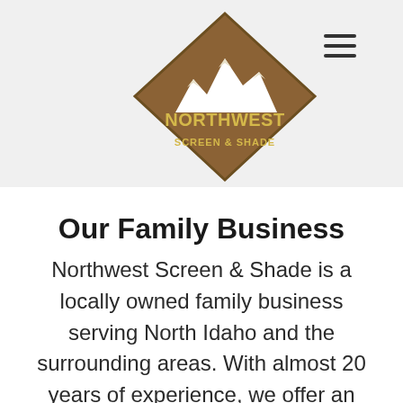[Figure (logo): Northwest Screen & Shade diamond-shaped logo with brown background, mountain silhouette in white/cream, and yellow text reading NORTHWEST SCREEN & SHADE]
Our Family Business
Northwest Screen & Shade is a locally owned family business serving North Idaho and the surrounding areas. With almost 20 years of experience, we offer an unmatched professional